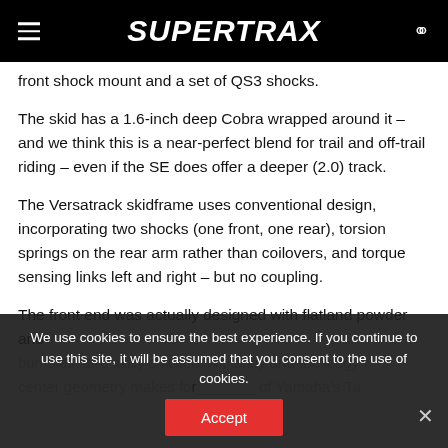SUPERTRAX
front shock mount and a set of QS3 shocks.
The skid has a 1.6-inch deep Cobra wrapped around it – and we think this is a near-perfect blend for trail and off-trail riding – even if the SE does offer a deeper (2.0) track.
The Versatrack skidframe uses conventional design, incorporating two shocks (one front, one rear), torsion springs on the rear arm rather than coilovers, and torque sensing links left and right – but no coupling.
The front end was actually designed with flatland powder and bumbles. The strong efficient conveniency and the logi center geometry makes for... of Yamaha's Tu...
We use cookies to ensure the best experience. If you continue to use this site, it will be assumed that you consent to the use of cookies.